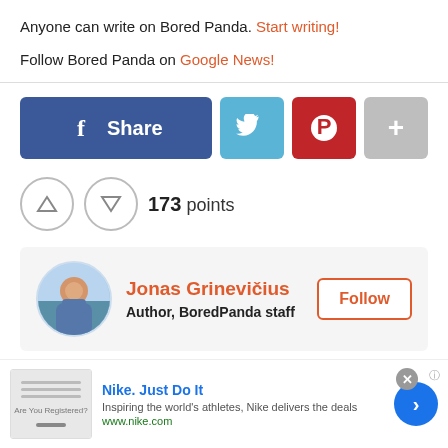Anyone can write on Bored Panda. Start writing!
Follow Bored Panda on Google News!
[Figure (other): Social share buttons: Facebook Share, Twitter, Pinterest, and more (+)]
173 points
Jonas Grinevičius
Author, BoredPanda staff
[Figure (other): Nike advertisement: Nike. Just Do It — Inspiring the world's athletes, Nike delivers the deals — www.nike.com]